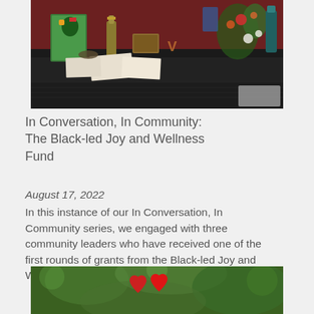[Figure (photo): A table with a black tablecloth covered in colorful artwork, bottles, baskets, plant decorations, and papers against a dark red wall background.]
In Conversation, In Community: The Black-led Joy and Wellness Fund
August 17, 2022
In this instance of our In Conversation, In Community series, we engaged with three community leaders who have received one of the first rounds of grants from the Black-led Joy and Wellness Fund.
[Figure (photo): Close-up photo of a red heart shape held up against a blurred green foliage background.]